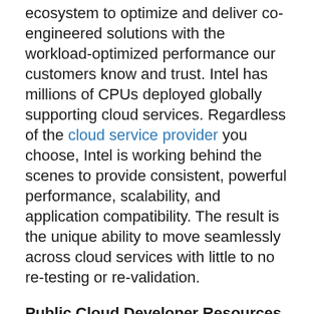ecosystem to optimize and deliver co-engineered solutions with the workload-optimized performance our customers know and trust. Intel has millions of CPUs deployed globally supporting cloud services. Regardless of the cloud service provider you choose, Intel is working behind the scenes to provide consistent, powerful performance, scalability, and application compatibility. The result is the unique ability to move seamlessly across cloud services with little to no re-testing or re-validation.
Public Cloud Developer Resources
Large public cloud service providers offer developer frameworks and Intel® Integrated Development Environment (Intel® IDE) tool suites to help your developers work faster